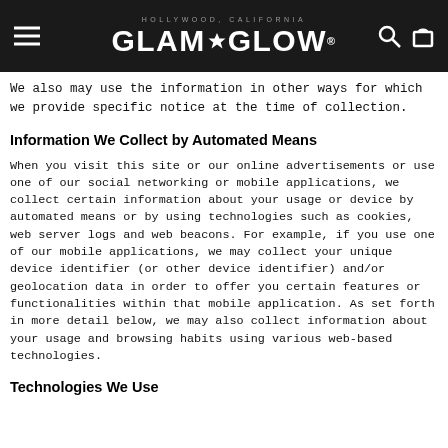GLAMGLOW — HOLLYWOOD, CALIFORNIA
We also may use the information in other ways for which we provide specific notice at the time of collection.
Information We Collect by Automated Means
When you visit this site or our online advertisements or use one of our social networking or mobile applications, we collect certain information about your usage or device by automated means or by using technologies such as cookies, web server logs and web beacons. For example, if you use one of our mobile applications, we may collect your unique device identifier (or other device identifier) and/or geolocation data in order to offer you certain features or functionalities within that mobile application. As set forth in more detail below, we may also collect information about your usage and browsing habits using various web-based technologies.
Technologies We Use